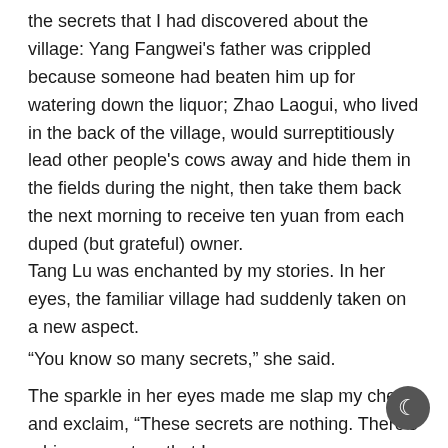the secrets that I had discovered about the village: Yang Fangwei's father was crippled because someone had beaten him up for watering down the liquor; Zhao Laogui, who lived in the back of the village, would surreptitiously lead other people's cows away and hide them in the fields during the night, then take them back the next morning to receive ten yuan from each duped (but grateful) owner.
Tang Lu was enchanted by my stories. In her eyes, the familiar village had suddenly taken on a new aspect.
“You know so many secrets,” she said.
The sparkle in her eyes made me slap my chest and exclaim, “These secrets are nothing. There’s a bigger mystery that I